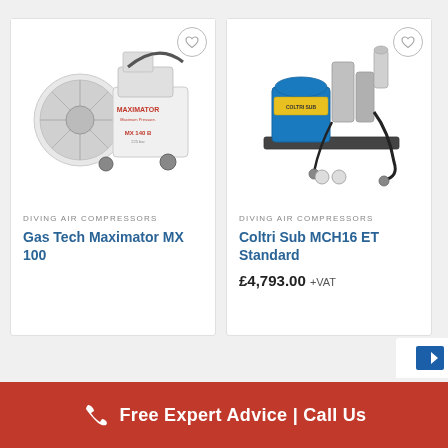[Figure (photo): Gas Tech Maximator MX 100 diving air compressor — white compressor unit with fan grill on left and engine on right, brand name MAXIMATOR visible]
DIVING AIR COMPRESSORS
Gas Tech Maximator MX 100
[Figure (photo): Coltri Sub MCH16 ET Standard diving air compressor — blue and silver electric compressor unit with hoses and fittings]
DIVING AIR COMPRESSORS
Coltri Sub MCH16 ET Standard
£4,793.00 +VAT
Free Expert Advice | Call Us